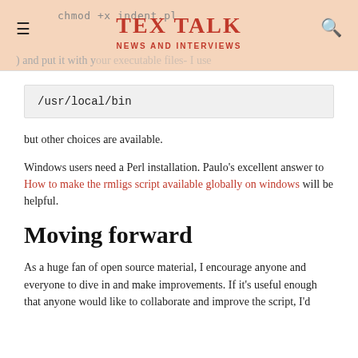TEX TALK
NEWS AND INTERVIEWS
chmod +x indent.pl
) and put it with your executable files- I use
/usr/local/bin
but other choices are available.
Windows users need a Perl installation. Paulo's excellent answer to How to make the rmligs script available globally on windows will be helpful.
Moving forward
As a huge fan of open source material, I encourage anyone and everyone to dive in and make improvements. If it's useful enough that anyone would like to collaborate and improve the script, I'd